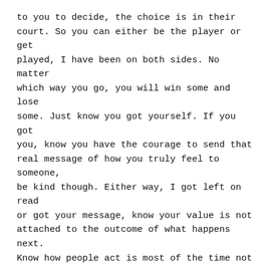to you to decide, the choice is in their court. So you can either be the player or get played, I have been on both sides. No matter which way you go, you will win some and lose some. Just know you got yourself. If you got you, know you have the courage to send that real message of how you truly feel to someone, be kind though. Either way, I got left on read or got your message, know your value is not attached to the outcome of what happens next. Know how people act is most of the time not a reflection of you, but their own self. Selfless or selfish, I got your msg, I read it, I smiled, I cried, I thought of you, I thought what could be. So next time, you get a call, voicemail, text or DM, know you got the message, it is okay what you do next (just remember to be kind).